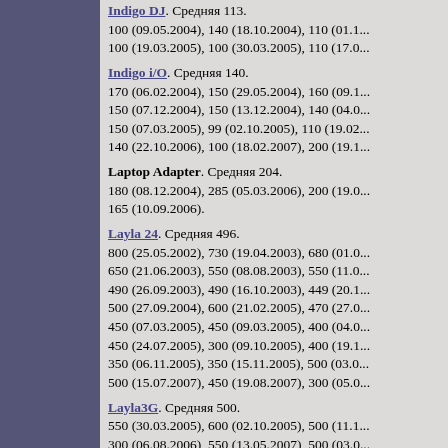Indigo DJ. Средняя 113. 100 (09.05.2004), 140 (18.10.2004), 110 (01.1... 100 (19.03.2005), 100 (30.03.2005), 110 (17.0...
Indigo i/O. Средняя 140. 170 (06.02.2004), 150 (29.05.2004), 160 (09.1... 150 (07.12.2004), 150 (13.12.2004), 140 (04.0... 150 (07.03.2005), 99 (02.10.2005), 110 (19.02... 140 (22.10.2006), 100 (18.02.2007), 200 (19.1...
Laptop Adapter. Средняя 204. 180 (08.12.2004), 285 (05.03.2006), 200 (19.0... 165 (10.09.2006).
Layla 24. Средняя 496. 800 (25.05.2002), 730 (19.04.2003), 680 (01.0... 650 (21.06.2003), 550 (08.08.2003), 550 (11.0... 490 (26.09.2003), 490 (16.10.2003), 449 (20.1... 500 (27.09.2004), 600 (21.02.2005), 470 (27.0... 450 (07.03.2005), 450 (09.03.2005), 400 (04.0... 450 (24.07.2005), 300 (09.10.2005), 400 (19.1... 350 (06.11.2005), 350 (15.11.2005), 500 (03.0... 500 (15.07.2007), 450 (19.08.2007), 300 (05.0...
Layla3G. Средняя 500. 550 (30.03.2005), 600 (02.10.2005), 500 (11.1... 300 (06.08.2006), 550 (13.05.2007), 500 (03.0...
Mia. Средняя 188. 270 (08.05.2001), 250 (16.05.2001), 250 (18.0...